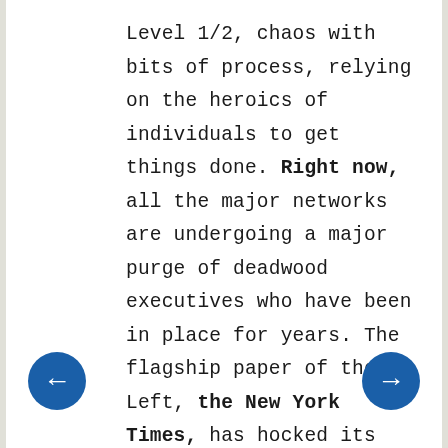Level 1/2, chaos with bits of process, relying on the heroics of individuals to get things done. Right now, all the major networks are undergoing a major purge of deadwood executives who have been in place for years. The flagship paper of the Left, the New York Times, has hocked its building and sold itself to some foreign investor to keep itself afloat. It's on the brink of bankruptcy.